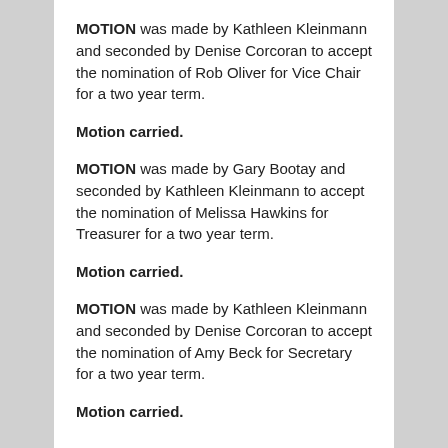MOTION was made by Kathleen Kleinmann and seconded by Denise Corcoran to accept the nomination of Rob Oliver for Vice Chair for a two year term.
Motion carried.
MOTION was made by Gary Bootay and seconded by Kathleen Kleinmann to accept the nomination of Melissa Hawkins for Treasurer for a two year term.
Motion carried.
MOTION was made by Kathleen Kleinmann and seconded by Denise Corcoran to accept the nomination of Amy Beck for Secretary for a two year term.
Motion carried.